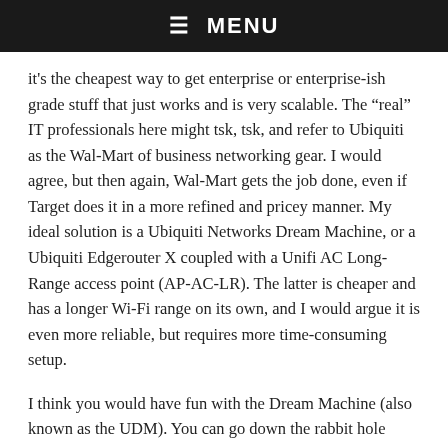☰  MENU
it's the cheapest way to get enterprise or enterprise-ish grade stuff that just works and is very scalable. The “real” IT professionals here might tsk, tsk, and refer to Ubiquiti as the Wal-Mart of business networking gear. I would agree, but then again, Wal-Mart gets the job done, even if Target does it in a more refined and pricey manner. My ideal solution is a Ubiquiti Networks Dream Machine, or a Ubiquiti Edgerouter X coupled with a Unifi AC Long-Range access point (AP-AC-LR). The latter is cheaper and has a longer Wi-Fi range on its own, and I would argue it is even more reliable, but requires more time-consuming setup.
I think you would have fun with the Dream Machine (also known as the UDM). You can go down the rabbit hole really easily with Wi-Fi and networking gear like you can with ham radio stuff, and have a lot of fun on the way.